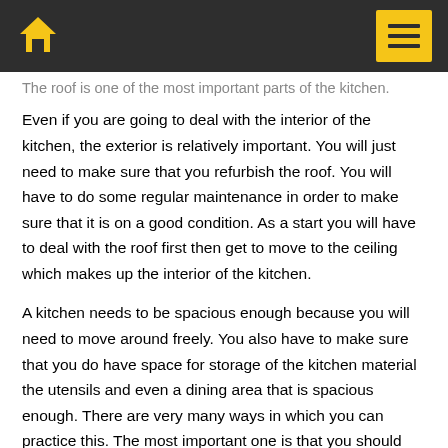The roof is one of the most important parts of the kitchen. Even if you are going to deal with the interior of the kitchen, the exterior is relatively important. You will just need to make sure that you refurbish the roof. You will have to do some regular maintenance in order to make sure that it is on a good condition. As a start you will have to deal with the roof first then get to move to the ceiling which makes up the interior of the kitchen.
A kitchen needs to be spacious enough because you will need to move around freely. You also have to make sure that you do have space for storage of the kitchen material the utensils and even a dining area that is spacious enough. There are very many ways in which you can practice this. The most important one is that you should